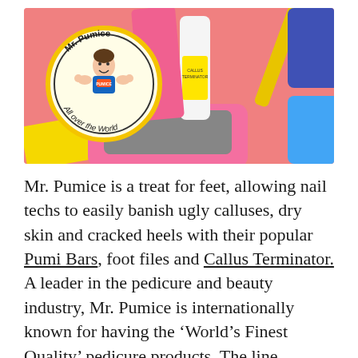[Figure (photo): Photo of Mr. Pumice branded pedicure products — colorful pumice bars, foot files, a Callus Terminator spray bottle — arranged on a pink background. Includes the Mr. Pumice logo circle with a cartoon strongman and 'All over the World' text.]
Mr. Pumice is a treat for feet, allowing nail techs to easily banish ugly calluses, dry skin and cracked heels with their popular Pumi Bars, foot files and Callus Terminator. A leader in the pedicure and beauty industry, Mr. Pumice is internationally known for having the ‘World’s Finest Quality’ pedicure products. The line includes fun, colorful and innovative products that are anti-bacterial, washable and reusable. Their pro pedicure products are